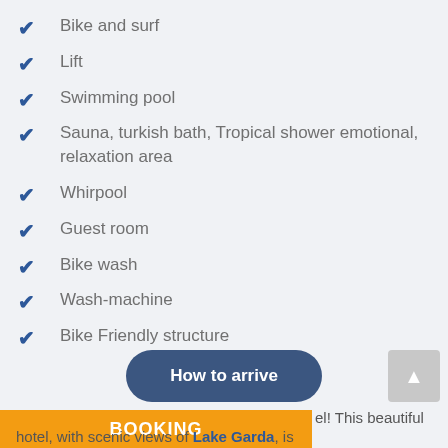Bike and surf
Lift
Swimming pool
Sauna, turkish bath, Tropical shower emotional, relaxation area
Whirpool
Guest room
Bike wash
Wash-machine
Bike Friendly structure
How to arrive
BOOKING
el! This beautiful hotel, with scenic views of Lake Garda, is